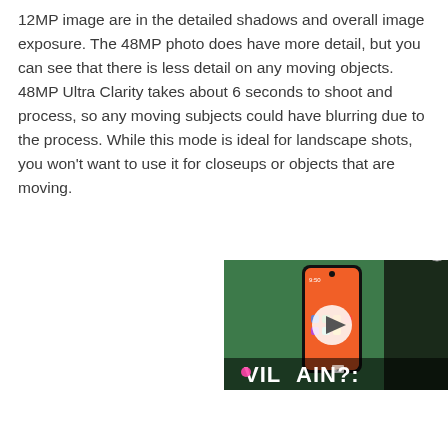12MP image are in the detailed shadows and overall image exposure. The 48MP photo does have more detail, but you can see that there is less detail on any moving objects. 48MP Ultra Clarity takes about 6 seconds to shoot and process, so any moving subjects could have blurring due to the process. While this mode is ideal for landscape shots, you won't want to use it for closeups or objects that are moving.
[Figure (screenshot): A video player overlay in the bottom-right of the page showing a smartphone on a green background with a play button and text reading 'VILLAIN?' partially visible. A close (X) button is shown in the top-right of the overlay.]